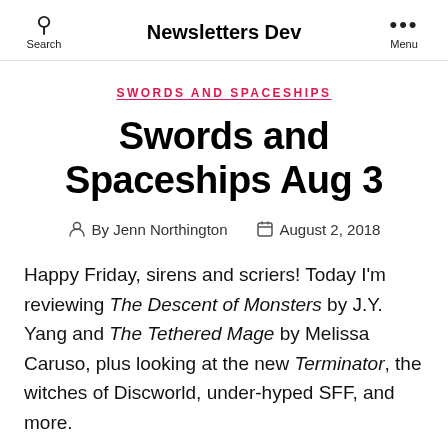Search | Newsletters Dev | Menu
SWORDS AND SPACESHIPS
Swords and Spaceships Aug 3
By Jenn Northington   August 2, 2018
Happy Friday, sirens and scriers! Today I'm reviewing The Descent of Monsters by J.Y. Yang and The Tethered Mage by Melissa Caruso, plus looking at the new Terminator, the witches of Discworld, under-hyped SFF, and more.